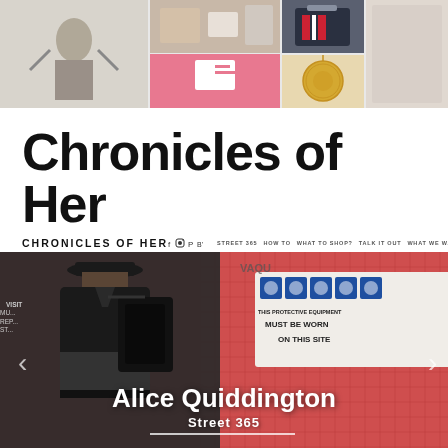[Figure (photo): Top banner strip showing a collage of four lifestyle/fashion photos including a woman with camera equipment, craft/stationery items on pink background, navy and striped accessories, and a gold coin necklace]
Chronicles of Her
CHRONICLES OF HER | STREET 365  HOW TO  WHAT TO SHOP?  TALK IT OUT  WHAT WE WANT  OTHER STUFF
[Figure (photo): Hero image showing a woman from behind wearing a black leather jacket and cap, standing in front of a construction site with red netting and blue safety signs reading 'THIS PROTECTIVE EQUIPMENT MUST BE WORN ON THIS SITE'. Overlaid text reads 'Alice Quiddington' and 'Street 365']